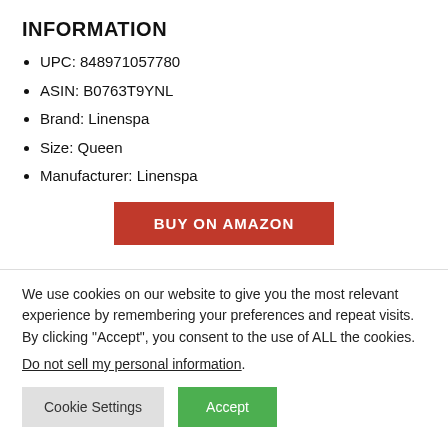INFORMATION
UPC: 848971057780
ASIN: B0763T9YNL
Brand: Linenspa
Size: Queen
Manufacturer: Linenspa
BUY ON AMAZON
We use cookies on our website to give you the most relevant experience by remembering your preferences and repeat visits. By clicking “Accept”, you consent to the use of ALL the cookies.
Do not sell my personal information.
Cookie Settings  Accept